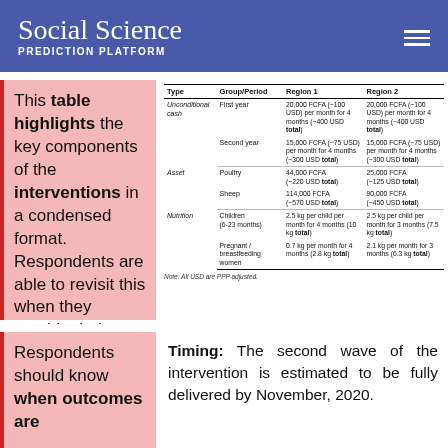Social Science PREDICTION PLATFORM
This table highlights the key components of the interventions in a condensed format. Respondents are able to revisit this when they provide their predictions.
| Type | Group/Period | Region 1 | Region 2 |
| --- | --- | --- | --- |
| Unconditional cash | First year | 20,000 FCFA (~100 USD) per month for 4 months (~400 USD total) | 20,000 FCFA (~100 USD) per month for 4 months (~400 USD total) |
|  | Second year | 15,000 FCFA (~75 USD) per month for 4 months (~300 USD total) | 15,000 FCFA (~75 USD) per month for 4 months (~300 USD total) |
| Asset | Poultry | 44,000 FCFA (~220 USD total) | 25,000 FCFA (~125 USD total) |
|  | Sheep | 114,000 FCFA (~570 USD total) | 90,000 FCFA (~450 USD total) |
| Nutrition | Children (6-23 months) | 2.5 kg per child per month for 4 months (10 kg total) | 2.5 kg per child per month for 3 months (7.5 kg total) |
|  | Pregnant / breastfeeding women | 0.7 kg per month for 4 months (2.8 kg total) | 2.1 kg per month for 3 months (6.3 kg total) |
Note: All USD are PPP adjusted.
Respondents should know when outcomes are
Timing: The second wave of the intervention is estimated to be fully delivered by November, 2020.